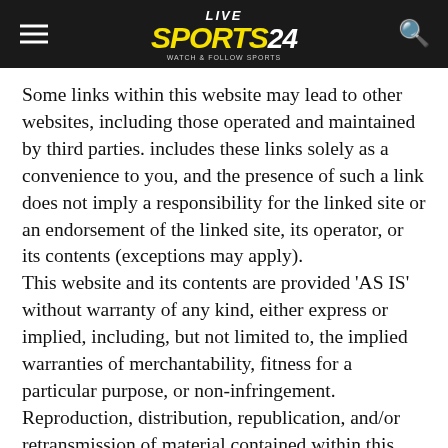LIVE SPORTS 24
Some links within this website may lead to other websites, including those operated and maintained by third parties. includes these links solely as a convenience to you, and the presence of such a link does not imply a responsibility for the linked site or an endorsement of the linked site, its operator, or its contents (exceptions may apply).
This website and its contents are provided ‘AS IS’ without warranty of any kind, either express or implied, including, but not limited to, the implied warranties of merchantability, fitness for a particular purpose, or non-infringement.
Reproduction, distribution, republication, and/or retransmission of material contained within this website are prohibited unless the prior written permission of has